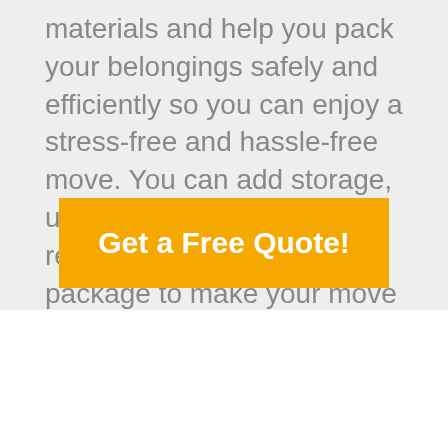materials and help you pack your belongings safely and efficiently so you can enjoy a stress-free and hassle-free move. You can add storage, unpacking, and waste removal services to the package to make your move easier. Get started with a free quote today!
Get a Free Quote!